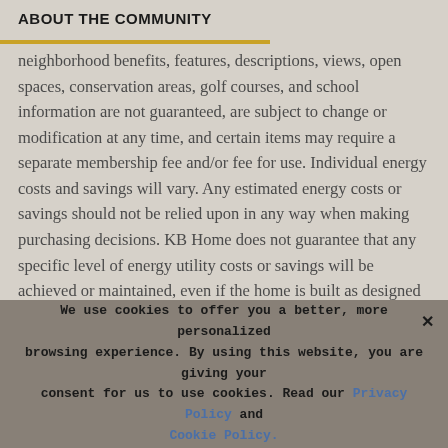ABOUT THE COMMUNITY
neighborhood benefits, features, descriptions, views, open spaces, conservation areas, golf courses, and school information are not guaranteed, are subject to change or modification at any time, and certain items may require a separate membership fee and/or fee for use. Individual energy costs and savings will vary. Any estimated energy costs or savings should not be relied upon in any way when making purchasing decisions. KB Home does not guarantee that any specific level of energy utility costs or savings will be achieved or maintained, even if the home is built as designed per
We use cookies to offer you a better, more personalized browsing experience. By using this website, you are giving your consent for us to use cookies. Read our Privacy Policy and Cookie Policy.